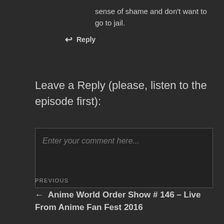sense of shame and don't want to go to jail.
↩ Reply
Leave a Reply (please, listen to the episode first):
Enter your comment here...
PREVIOUS
← Anime World Order Show # 146 – Live From Anime Fan Fest 2016